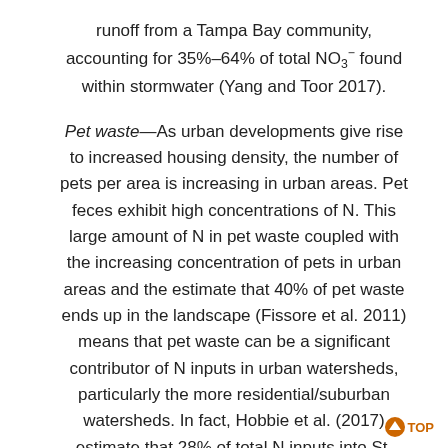runoff from a Tampa Bay community, accounting for 35%–64% of total NO3− found within stormwater (Yang and Toor 2017).
Pet waste—As urban developments give rise to increased housing density, the number of pets per area is increasing in urban areas. Pet feces exhibit high concentrations of N. This large amount of N in pet waste coupled with the increasing concentration of pets in urban areas and the estimate that 40% of pet waste ends up in the landscape (Fissore et al. 2011) means that pet waste can be a significant contributor of N inputs in urban watersheds, particularly the more residential/suburban watersheds. In fact, Hobbie et al. (2017) estimate that 28% of total N inputs into St. Paul, MN, watersheds are from pet waste.